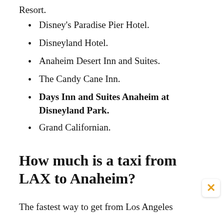Resort.
Disney's Paradise Pier Hotel.
Disneyland Hotel.
Anaheim Desert Inn and Suites.
The Candy Cane Inn.
Days Inn and Suites Anaheim at Disneyland Park.
Grand Californian.
How much is a taxi from LAX to Anaheim?
The fastest way to get from Los Angeles